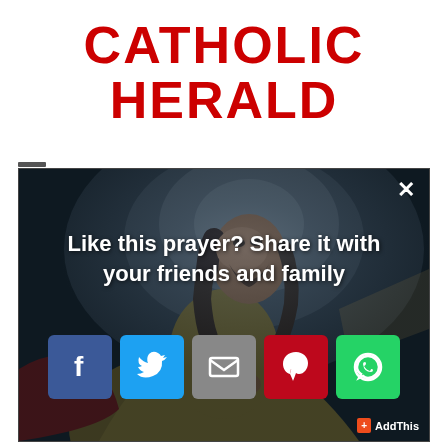CATHOLIC HERALD
[Figure (screenshot): A modal popup overlay on a Catholic Herald webpage showing a classical painting of Jesus Christ in prayer (Gethsemane) as background, with white bold text 'Like this prayer? Share it with your friends and family' and five social media sharing buttons: Facebook (blue), Twitter (blue), Email (grey), Pinterest (red), WhatsApp (green), plus an AddThis branding label in bottom right.]